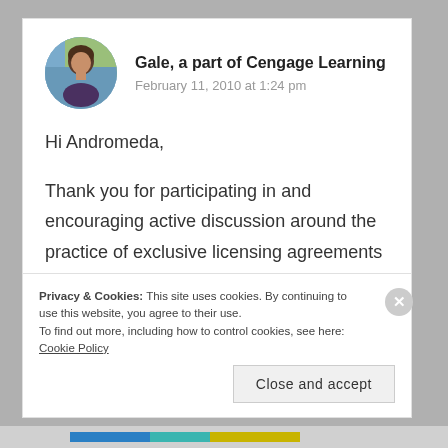[Figure (photo): Circular avatar photo of a woman with brown hair wearing a dark top, with a colorful blurred background]
Gale, a part of Cengage Learning
February 11, 2010 at 1:24 pm
Hi Andromeda,
Thank you for participating in and encouraging active discussion around the practice of exclusive licensing agreements and their potential impact on the library community.
Privacy & Cookies: This site uses cookies. By continuing to use this website, you agree to their use.
To find out more, including how to control cookies, see here: Cookie Policy
Close and accept